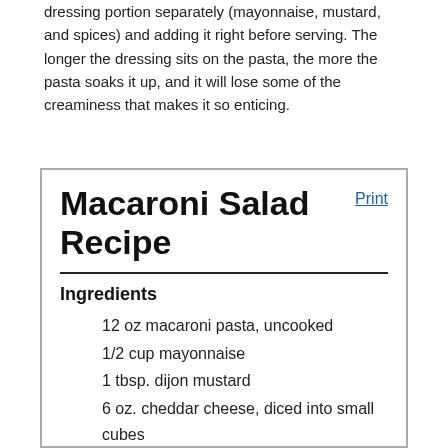dressing portion separately (mayonnaise, mustard, and spices) and adding it right before serving. The longer the dressing sits on the pasta, the more the pasta soaks it up, and it will lose some of the creaminess that makes it so enticing.
Macaroni Salad Recipe
Ingredients
12 oz macaroni pasta, uncooked
1/2 cup mayonnaise
1 tbsp. dijon mustard
6 oz. cheddar cheese, diced into small cubes
1 tbsp. dried parsley
1 tsp. garlic powder